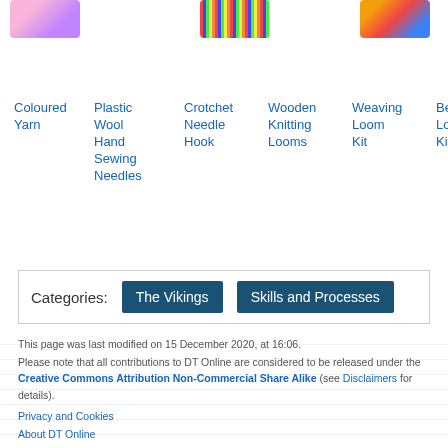[Figure (photo): Small product image - coloured yarn, pink/purple]
[Figure (photo): Small product image - striped/colourful threads or needles]
[Figure (photo): Small product image - colourful kit/loom]
Coloured Yarn
Plastic Wool Hand Sewing Needles
Crotchet Needle Hook
Wooden Knitting Looms
Weaving Loom Kit
Be Lo Kit
| Categories: | The Vikings | Skills and Processes |
| --- | --- | --- |
This page was last modified on 15 December 2020, at 16:06.
Please note that all contributions to DT Online are considered to be released under the Creative Commons Attribution Non-Commercial Share Alike (see Disclaimers for details).
Privacy and Cookies
About DT Online